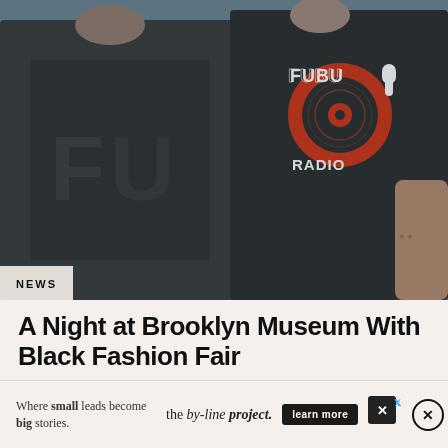[Figure (photo): Two people wearing black clothing. Left person wears a dark vest/jacket with large lettering. Right person wears a black t-shirt with FUBU Radio logo in red and white.]
NEWS
A Night at Brooklyn Museum With Black Fashion Fair
20 HOURS AGO
[Figure (infographic): Advertisement banner: 'Where small leads become big stories. the by-line project. learn more' with social media icons and close button.]